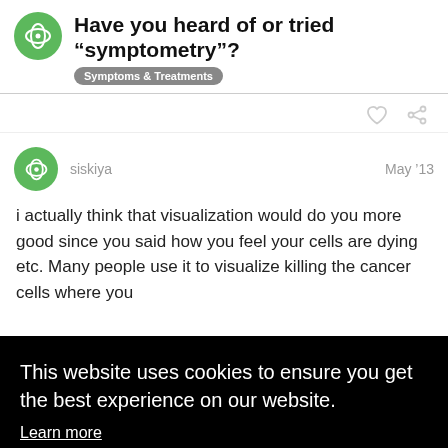Have you heard of or tried “symptometry”?
Symptoms & Treatments
siskiya   May ’13
i actually think that visualization would do you more good since you said how you feel your cells are dying etc. Many people use it to visualize killing the cancer cells where you
This website uses cookies to ensure you get the best experience on our website.
Learn more
Got it!
not like it as long as decent teacher ran t